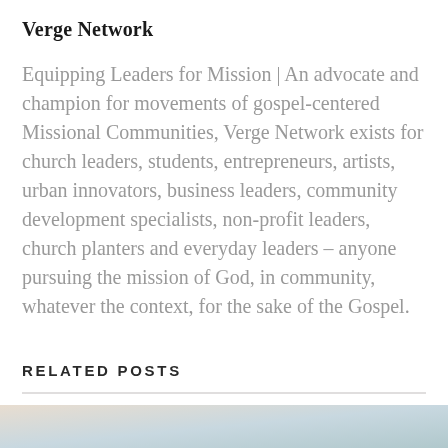Verge Network
Equipping Leaders for Mission | An advocate and champion for movements of gospel-centered Missional Communities, Verge Network exists for church leaders, students, entrepreneurs, artists, urban innovators, business leaders, community development specialists, non-profit leaders, church planters and everyday leaders – anyone pursuing the mission of God, in community, whatever the context, for the sake of the Gospel.
RELATED POSTS
[Figure (photo): Blurred outdoor photo strip at bottom of page with soft beige and blue tones]